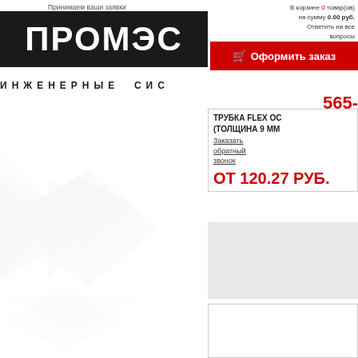Принимаем ваши заявки ежедневно с 9:00 до 18:00
E-mail: info@promes.ru
[Figure (logo): ПРОМЭС company logo — white text on black background]
В корзине 0 товар(ов) на сумму 0.00 руб.
Ответить на все вопросы
Оформить заказ
ИНЖЕНЕРНЫЕ СИС
565-33-37
8 (800) 500-16-72
ТРУБКА FLEX OС (ТОЛЩИНА 9 ММ
Заказать обратный звонок
ОТ 120.27 РУБ.